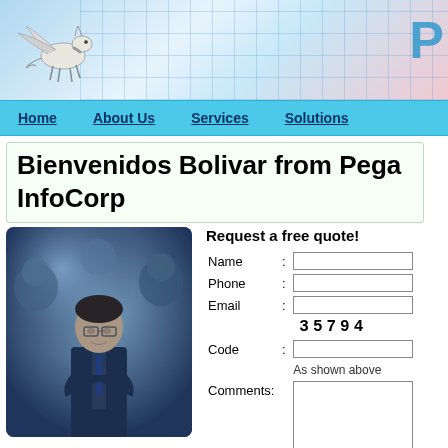[Figure (illustration): Website header banner with blue teal gradient background showing glass building grid, pegasus (winged horse) logo on left, partial letter P on right]
Home   About Us   Services   Solutions
Bienvenidos Bolivar from Pega InfoCorp
[Figure (photo): Business photo showing a man in suit with arms crossed surrounded by other people, blue tinted]
Request a free quote!
Name :
Phone :
Email :
35794
Code :
As shown above
Comments: